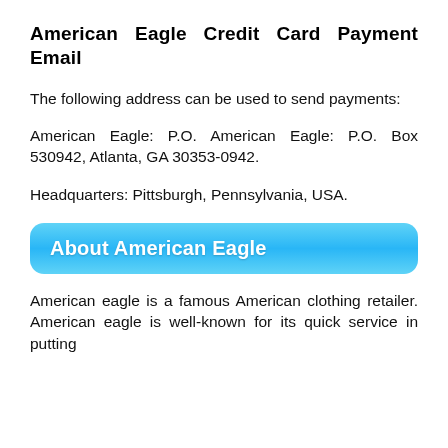American Eagle Credit Card Payment Email
The following address can be used to send payments:
American Eagle: P.O. American Eagle: P.O. Box 530942, Atlanta, GA 30353-0942.
Headquarters: Pittsburgh, Pennsylvania, USA.
About American Eagle
American eagle is a famous American clothing retailer. American eagle is well-known for its quick service in putting